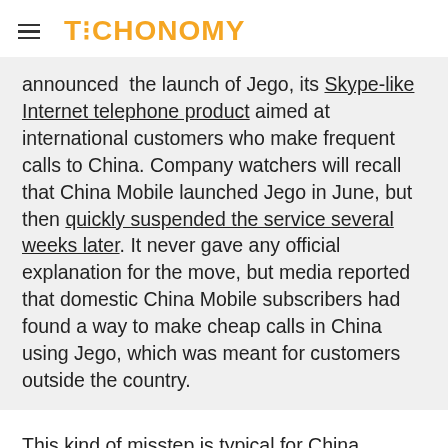TECHONOMY
announced the launch of Jego, its Skype-like Internet telephone product aimed at international customers who make frequent calls to China. Company watchers will recall that China Mobile launched Jego in June, but then quickly suspended the service several weeks later. It never gave any official explanation for the move, but media reported that domestic China Mobile subscribers had found a way to make cheap calls in China using Jego, which was meant for customers outside the country.
This kind of misstep is typical for China Mobile, which has shown a lack of ability to expand